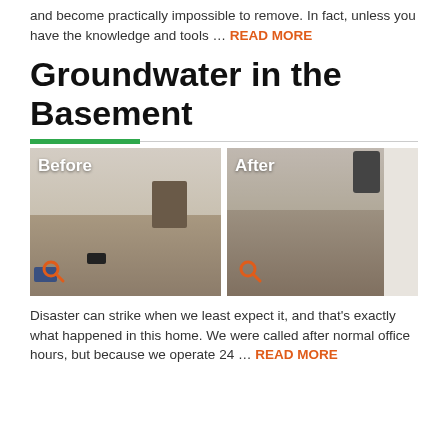and become practically impossible to remove. In fact, unless you have the knowledge and tools ... READ MORE
Groundwater in the Basement
[Figure (photo): Before and after photos of a basement with groundwater damage. Before photo shows wet/damaged flooring with furniture and items on the floor. After photo shows cleaned, dried concrete basement floor.]
Disaster can strike when we least expect it, and that's exactly what happened in this home. We were called after normal office hours, but because we operate 24 ... READ MORE